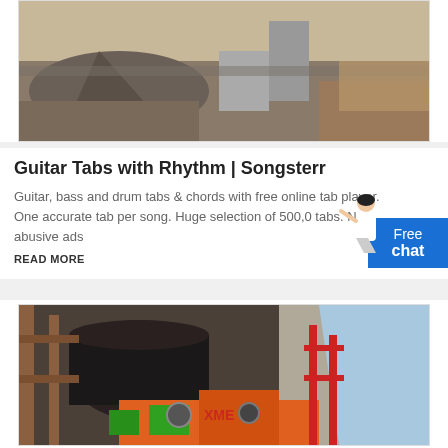[Figure (photo): Outdoor construction/mining site with piles of crushed gravel or stone, heavy machinery in background, brown/grey tones]
Guitar Tabs with Rhythm | Songsterr
Guitar, bass and drum tabs & chords with free online tab player. One accurate tab per song. Huge selection of 500,0 tabs. No abusive ads
READ MORE
[Figure (photo): Industrial/mining machinery at a construction site near a cliff or waterway, featuring large cylindrical equipment, orange machinery with XME branding, green components, workers visible]